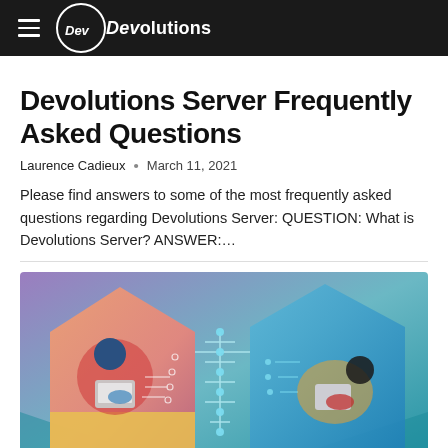Devolutions
Devolutions Server Frequently Asked Questions
Laurence Cadieux  •  March 11, 2021
Please find answers to some of the most frequently asked questions regarding Devolutions Server: QUESTION: What is Devolutions Server? ANSWER:…
[Figure (illustration): Illustration showing two people working on laptops inside house-shaped outlines connected by circuit board lines on a gradient teal-purple-blue background]